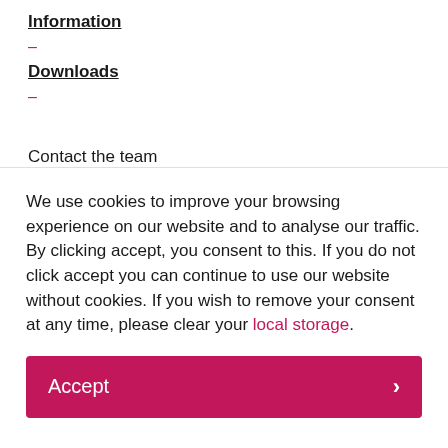Information
-
Downloads
-
Contact the team
We use cookies to improve your browsing experience on our website and to analyse our traffic. By clicking accept, you consent to this. If you do not click accept you can continue to use our website without cookies. If you wish to remove your consent at any time, please clear your local storage.
Accept